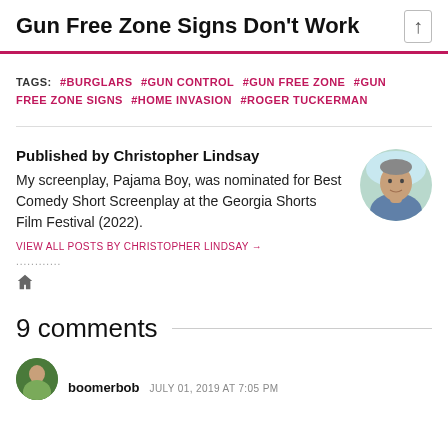Gun Free Zone Signs Don't Work
TAGS: #BURGLARS #GUN CONTROL #GUN FREE ZONE #GUN FREE ZONE SIGNS #HOME INVASION #ROGER TUCKERMAN
Published by Christopher Lindsay
My screenplay, Pajama Boy, was nominated for Best Comedy Short Screenplay at the Georgia Shorts Film Festival (2022).
[Figure (photo): Circular avatar photo of Christopher Lindsay, a middle-aged man with short hair, wearing a blue shirt, light blue/teal background.]
VIEW ALL POSTS BY CHRISTOPHER LINDSAY →
9 comments
boomerbob JULY 01, 2019 AT 7:05 PM